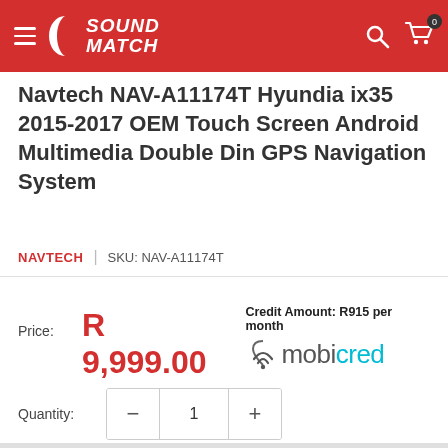SoundMatch
Navtech NAV-A11174T Hyundia ix35 2015-2017 OEM Touch Screen Android Multimedia Double Din GPS Navigation System
NAVTECH | SKU: NAV-A11174T
Price: R 9,999.00 Credit Amount: R915 per month mobicred
Quantity: 1